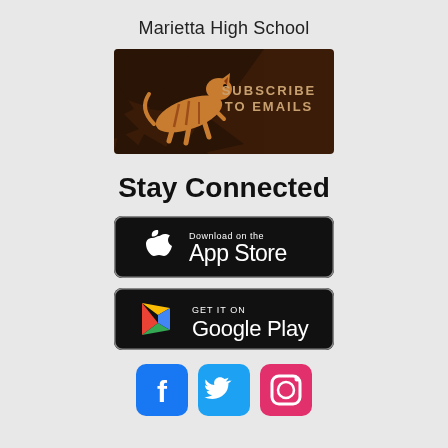Marietta High School
[Figure (illustration): Dark brown background with tiger stripe pattern and a leaping tiger illustration in orange. Bold text reads 'SUBSCRIBE TO EMAILS' in gold/tan letters.]
Stay Connected
[Figure (screenshot): Black App Store download badge with Apple logo and text 'Download on the App Store']
[Figure (screenshot): Black Google Play badge with colorful triangle logo and text 'GET IT ON Google Play']
[Figure (infographic): Social media icon buttons: Facebook (blue), Twitter (light blue), Instagram (pink/magenta)]